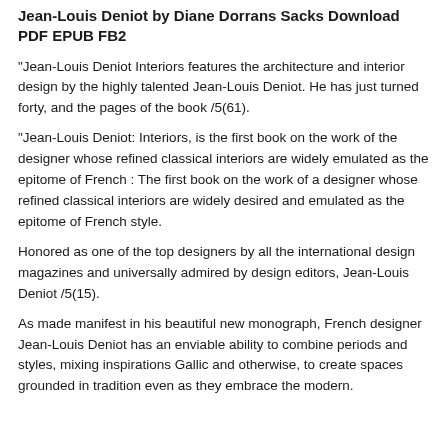Jean-Louis Deniot by Diane Dorrans Sacks Download PDF EPUB FB2
“Jean-Louis Deniot Interiors features the architecture and interior design by the highly talented Jean-Louis Deniot. He has just turned forty, and the pages of the book /5(61).
“Jean-Louis Deniot: Interiors, is the first book on the work of the designer whose refined classical interiors are widely emulated as the epitome of French :   The first book on the work of a designer whose refined classical interiors are widely desired and emulated as the epitome of French style.
Honored as one of the top designers by all the international design magazines and universally admired by design editors, Jean-Louis Deniot /5(15).
As made manifest in his beautiful new monograph, French designer Jean-Louis Deniot has an enviable ability to combine periods and styles, mixing inspirations Gallic and otherwise, to create spaces grounded in tradition even as they embrace the modern.